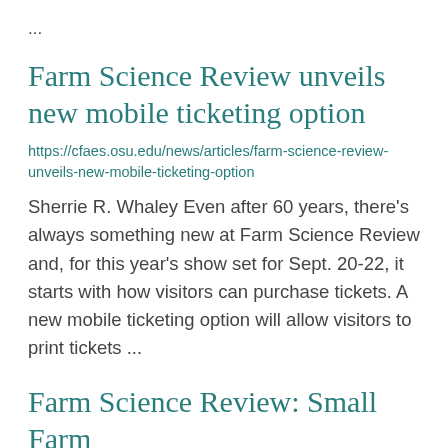...
Farm Science Review unveils new mobile ticketing option
https://cfaes.osu.edu/news/articles/farm-science-review-unveils-new-mobile-ticketing-option
Sherrie R. Whaley Even after 60 years, there's always something new at Farm Science Review and, for this year's show set for Sept. 20-22, it starts with how visitors can purchase tickets. A new mobile ticketing option will allow visitors to print tickets ...
Farm Science Review: Small Farm